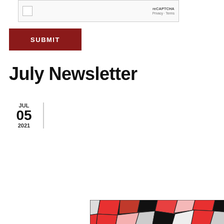[Figure (screenshot): reCAPTCHA widget showing a checkbox and reCAPTCHA branding with Privacy and Terms links]
SUBMIT
July Newsletter
JUL
05
2021
[Figure (illustration): Colorful mosaic/stained-glass pattern in red, black, white, and gray with an overlay banner reading 'July Newsletter' and 'CALI/ACRS']